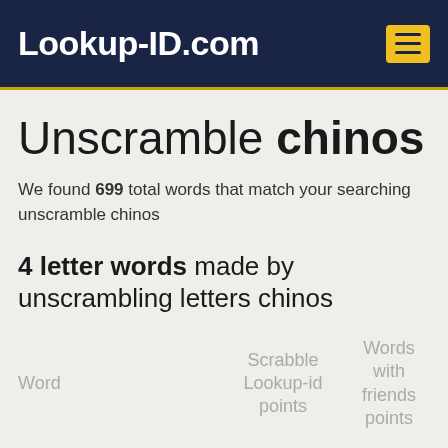Lookup-ID.com
Unscramble chinos
We found 699 total words that match your searching unscramble chinos
4 letter words made by unscrambling letters chinos
| Word | Scrabble Lookup-id points | Words with friends points |
| --- | --- | --- |